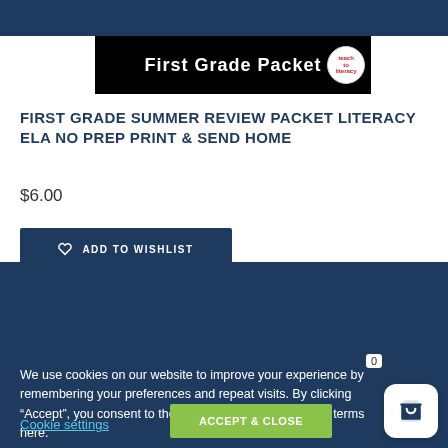[Figure (other): Product banner with 'First Grade Packet' text on black background with small circular badge/logo on right]
FIRST GRADE SUMMER REVIEW PACKET LITERACY ELA NO PREP PRINT & SEND HOME
$6.00
ADD TO WISHLIST
[Figure (other): Second product banner with cursive/italic white text on black background (partially visible)]
We use cookies on our website to improve your experience by remembering your preferences and repeat visits. By clicking “Accept”, you consent to the use of all the cookies. View terms here.
Cookie settings
ACCEPT & Close